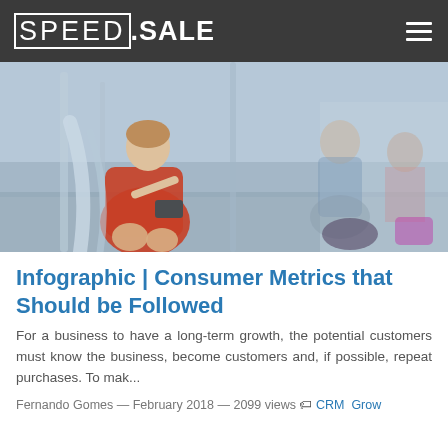SPEED.SALE
[Figure (photo): People sitting in a subway/metro train, a woman in a red dress is looking at her smartphone, other passengers are visible in the background.]
Infographic | Consumer Metrics that Should be Followed
For a business to have a long-term growth, the potential customers must know the business, become customers and, if possible, repeat purchases. To mak...
Fernando Gomes — February 2018 — 2099 views  CRM  Grow